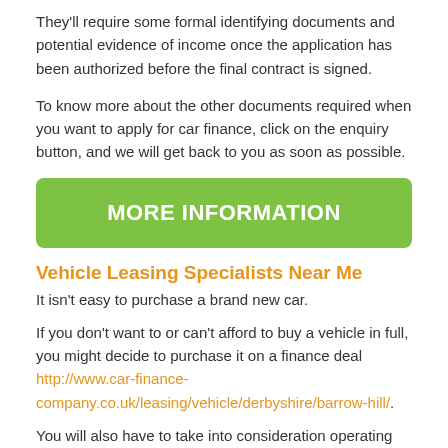They'll require some formal identifying documents and potential evidence of income once the application has been authorized before the final contract is signed.
To know more about the other documents required when you want to apply for car finance, click on the enquiry button, and we will get back to you as soon as possible.
[Figure (other): Green button labeled MORE INFORMATION]
Vehicle Leasing Specialists Near Me
It isn't easy to purchase a brand new car.
If you don't want to or can't afford to buy a vehicle in full, you might decide to purchase it on a finance deal http://www.car-finance-company.co.uk/leasing/vehicle/derbyshire/barrow-hill/.
You will also have to take into consideration operating prices. In reality, it's probably the second most costly thing you would purchase after a house.